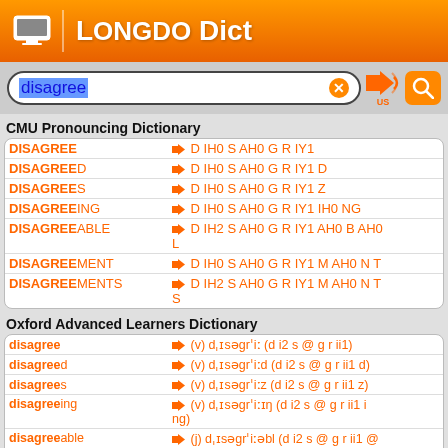Longdo Dict
disagree (search box)
CMU Pronouncing Dictionary
| Word | Pronunciation |
| --- | --- |
| DISAGREE | D IH0 S AH0 G R IY1 |
| DISAGREED | D IH0 S AH0 G R IY1 D |
| DISAGREES | D IH0 S AH0 G R IY1 Z |
| DISAGREEING | D IH0 S AH0 G R IY1 IH0 NG |
| DISAGREEABLE | D IH2 S AH0 G R IY1 AH0 B AH0 L |
| DISAGREEMENT | D IH0 S AH0 G R IY1 M AH0 N T |
| DISAGREEMENTS | D IH2 S AH0 G R IY1 M AH0 N T S |
Oxford Advanced Learners Dictionary
| Word | Pronunciation |
| --- | --- |
| disagree | (v) dˌɪsəgrˈiː (d i2 s @ g r ii1) |
| disagreed | (v) dˌɪsəgrˈiːd (d i2 s @ g r ii1 d) |
| disagrees | (v) dˌɪsəgrˈiːz (d i2 s @ g r ii1 z) |
| disagreeing | (v) dˌɪsəgrˈiːɪŋ (d i2 s @ g r ii1 i ng) |
| disagreeable | (j) dˌɪsəgrˈiːəbl (d i2 s @ g r ii1 @ b l) |